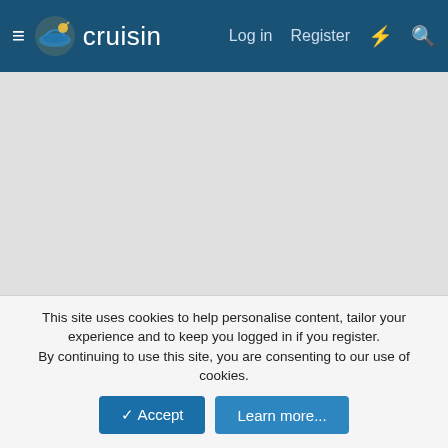cruisin — Log in  Register
[Figure (other): Grey advertisement placeholder area]
P&O addict
Bizziebee · Mar 6, 2014 · aft  aurora  beautiful  favorite  p&o
Bizziebee
This site uses cookies to help personalise content, tailor your experience and to keep you logged in if you register.
By continuing to use this site, you are consenting to our use of cookies.
✓ Accept    Learn more...